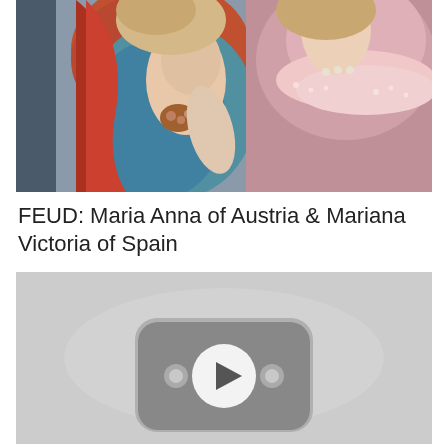[Figure (photo): Partial view of a classical painting showing two figures: one wearing a red and teal dress with pearl jewelry, another in pink with lace trim — cropped at the top of the page]
FEUD: Maria Anna of Austria & Mariana Victoria of Spain
[Figure (screenshot): A YouTube video embed placeholder showing a gray background with a YouTube play button icon in the center]